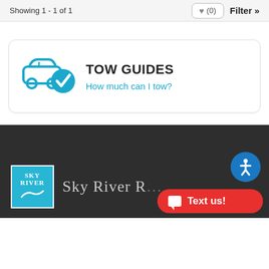Showing 1 - 1 of 1
TOW GUIDES
How much can I tow?
[Figure (logo): Sky River logo with tow guide icon — car with checkmark, cyan color]
[Figure (logo): Sky River RV dealership logo — cyan box with 'Sky River' text in serif font, partial brand name visible]